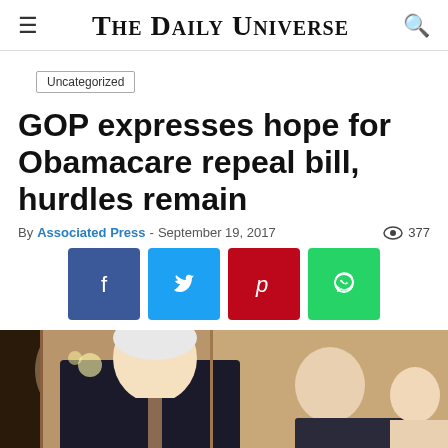THE DAILY UNIVERSE
Uncategorized
GOP expresses hope for Obamacare repeal bill, hurdles remain
By Associated Press - September 19, 2017 · 377 views
[Figure (other): Social share buttons: Facebook, Twitter, Pinterest, WhatsApp]
[Figure (photo): Two men in suits speaking, one with white hair in the foreground, another behind him, in an ornate interior setting]